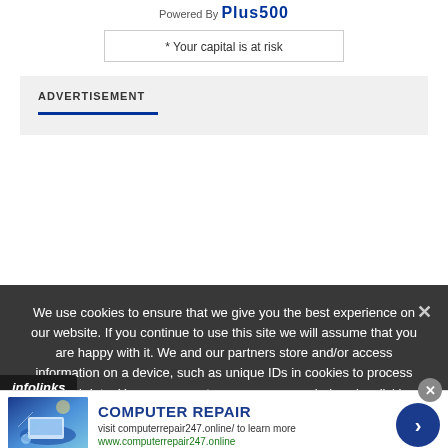Powered By Plus500
* Your capital is at risk
ADVERTISEMENT
We use cookies to ensure that we give you the best experience on our website. If you continue to use this site we will assume that you are happy with it. We and our partners store and/or access information on a device, such as unique IDs in cookies to process personal data. You may accept or manage your choices by clicking below, including your right to object where legitimate interest is used, or at any time in the privacy policy page. These choices will be signalled to our partners and will not affect browsing data. We and our partners process data to provide: Use precise geolocation data. ely scan device characteristics for identification. Store and/or
[Figure (screenshot): Infolinks advertisement bar at bottom left]
[Figure (photo): Computer repair advertisement banner showing hands on computer with blue circuit background. Title: COMPUTER REPAIR. Subtitle: visit computerrepair247.online/ to learn more. Link: www.computerrepair247.online]